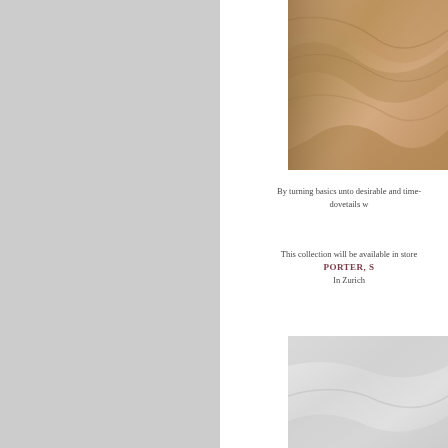[Figure (photo): Close-up photograph of draped tan/camel colored fabric with soft folds]
By turning basics unto desirable and time- dovetails w
This collection will be available in store PORTER, S In Zurich
[Figure (photo): Light grey/white fabric or textile photograph, lower portion of page]